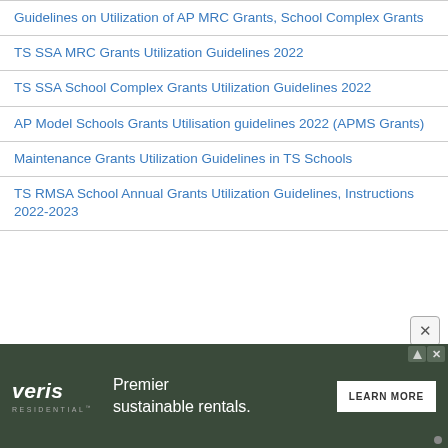Guidelines on Utilization of AP MRC Grants, School Complex Grants
TS SSA MRC Grants Utilization Guidelines 2022
TS SSA School Complex Grants Utilization Guidelines 2022
AP Model Schools Grants Utilisation guidelines 2022 (APMS Grants)
Maintenance Grants Utilization Guidelines in TS Schools
TS RMSA School Annual Grants Utilization Guidelines, Instructions 2022-2023
[Figure (screenshot): Close button (X) in grey rounded rectangle]
[Figure (screenshot): Veris Residential advertisement banner with 'Premier sustainable rentals.' text and LEARN MORE button]